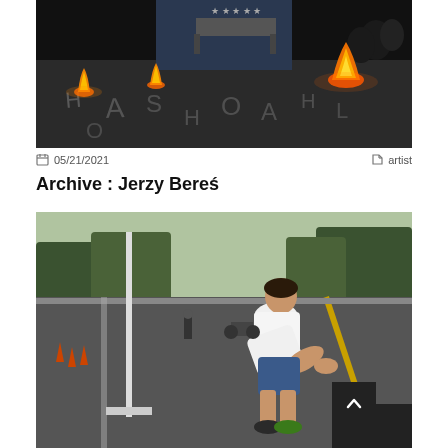[Figure (photo): Dark indoor performance space with fires/flames burning on a stone or concrete floor, letters written on the ground, audience visible in background, blue curtain backdrop]
05/21/2021   artist
Archive : Jerzy Bereś
[Figure (photo): A man in white t-shirt and blue shorts bending forward on a road, holding something in his hands, trees and road visible in background, with a scroll-to-top button in bottom right corner]